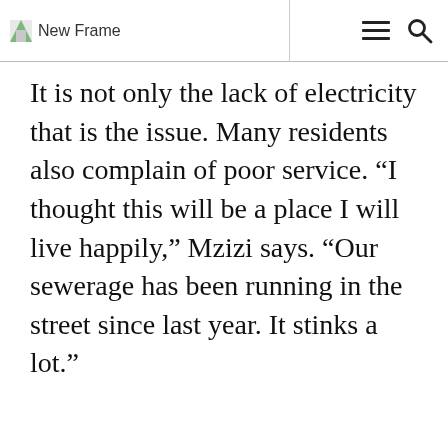New Frame
It is not only the lack of electricity that is the issue. Many residents also complain of poor service. “I thought this will be a place I will live happily,” Mzizi says. “Our sewerage has been running in the street since last year. It stinks a lot.”